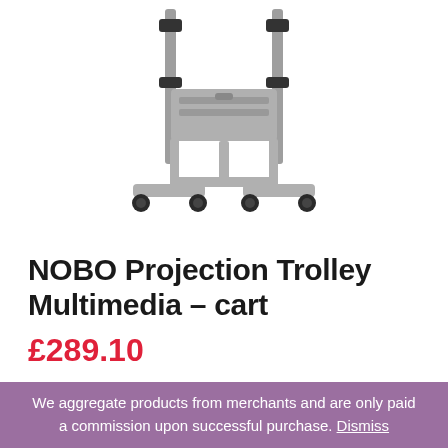[Figure (photo): Product photo of a grey metal projection trolley/multimedia cart with adjustable height poles, cross-bar, and four castor wheels on a T-shaped base]
NOBO Projection Trolley Multimedia – cart
£289.10
We aggregate products from merchants and are only paid a commission upon successful purchase. Dismiss